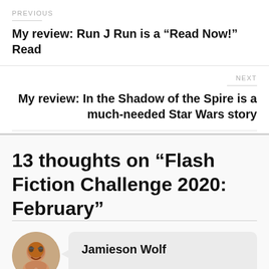PREVIOUS
My review: Run J Run is a “Read Now!” Read
NEXT
My review: In the Shadow of the Spire is a much-needed Star Wars story
13 thoughts on “Flash Fiction Challenge 2020: February”
Jamieson Wolf